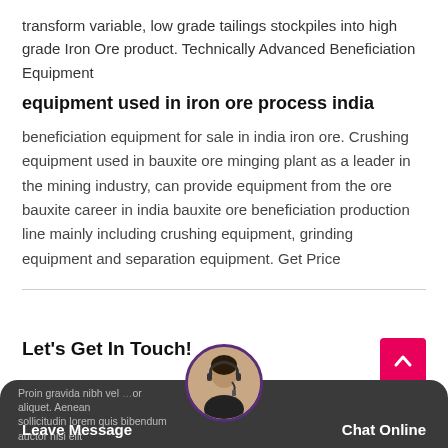transform variable, low grade tailings stockpiles into high grade Iron Ore product. Technically Advanced Beneficiation Equipment
equipment used in iron ore process india
beneficiation equipment for sale in india iron ore. Crushing equipment used in bauxite ore minging plant as a leader in the mining industry, can provide equipment from the ore bauxite career in india bauxite ore beneficiation production line mainly including crushing equipment, grinding equipment and separation equipment. Get Price
Let's Get In Touch!
Leave Message   Chat Online   Proin gravida nibh vel ... or aliquet. Aenean sollicitudin lorem quis bibendum auctor nisi elit